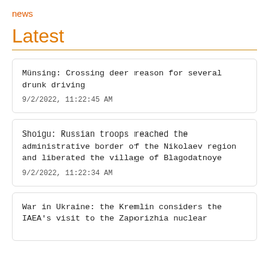news
Latest
Münsing: Crossing deer reason for several drunk driving
9/2/2022, 11:22:45 AM
Shoigu: Russian troops reached the administrative border of the Nikolaev region and liberated the village of Blagodatnoye
9/2/2022, 11:22:34 AM
War in Ukraine: the Kremlin considers the IAEA's visit to the Zaporizhia nuclear